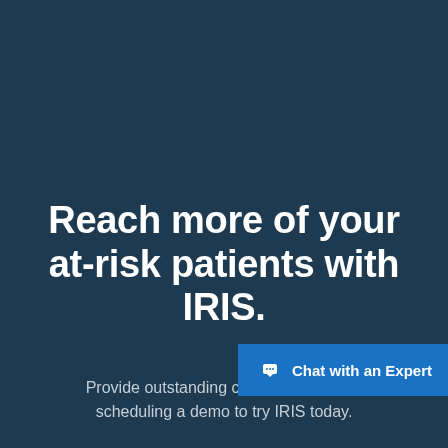Reach more of your at-risk patients with IRIS.
Provide outstanding care to all of the di... scheduling a demo to try IRIS today.
[Figure (other): Blue chat button with speech bubble icon and text 'Chat with an Expert']